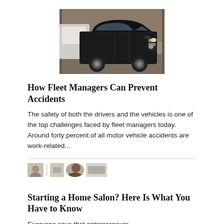[Figure (photo): A black SUV (Mercedes-Benz GL-class) parked in what appears to be an indoor garage or warehouse setting, with another white vehicle visible in the background.]
How Fleet Managers Can Prevent Accidents
The safety of both the drivers and the vehicles is one of the top challenges faced by fleet managers today. Around forty percent of all motor vehicle accidents are work-related...
[Figure (photo): Small thumbnail images in a row showing blurred/small preview photos with a vertical separator between them.]
Starting a Home Salon? Here Is What You Have to Know
Everyone says that entrepreneurs